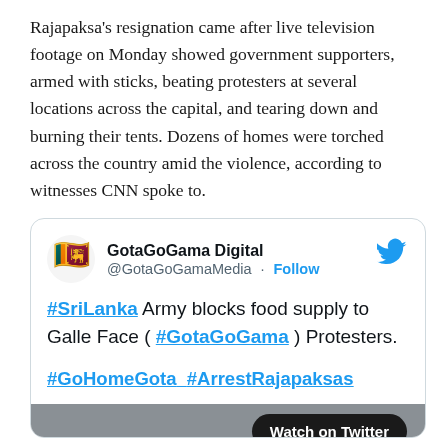Rajapaksa's resignation came after live television footage on Monday showed government supporters, armed with sticks, beating protesters at several locations across the capital, and tearing down and burning their tents. Dozens of homes were torched across the country amid the violence, according to witnesses CNN spoke to.
[Figure (screenshot): Embedded tweet from @GotaGoGamaMedia (GotaGoGama Digital) with a Sri Lanka map logo avatar and Twitter bird icon. Tweet text: #SriLanka Army blocks food supply to Galle Face ( #GotaGoGama ) Protesters. #GoHomeGota #ArrestRajapaksas. Below is a partially visible video thumbnail with a 'Watch on Twitter' button.]